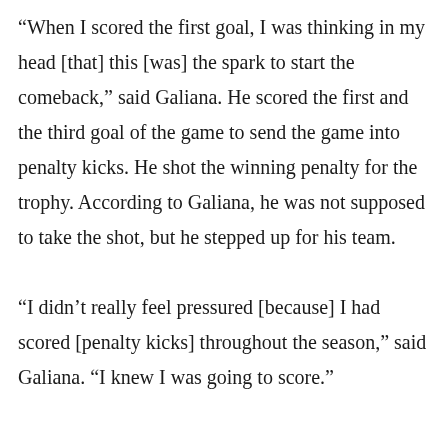“When I scored the first goal, I was thinking in my head [that] this [was] the spark to start the comeback,” said Galiana. He scored the first and the third goal of the game to send the game into penalty kicks. He shot the winning penalty for the trophy. According to Galiana, he was not supposed to take the shot, but he stepped up for his team.

“I didn’t really feel pressured [because] I had scored [penalty kicks] throughout the season,” said Galiana. “I knew I was going to score.”